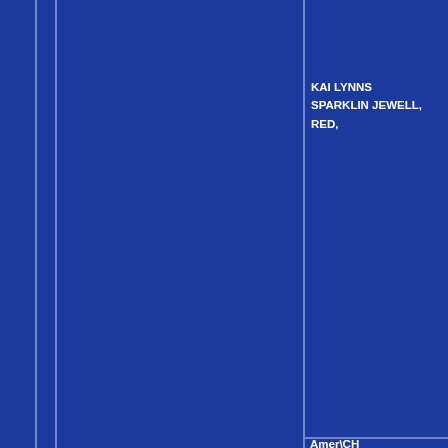KAI LYNNS SPARKLIN JEWELL, RED,
Amer\CH MONARCH'S IN THE NIK OF TIME, 06/07/1996, NM65331501
SUM-R BEAR THE TEMPEST, 25/08/1992, BLACK, NM43148404